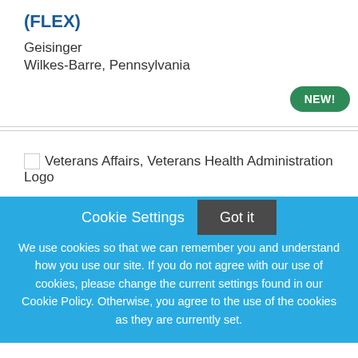(FLEX)
Geisinger
Wilkes-Barre, Pennsylvania
[Figure (other): NEW! badge - green rounded pill button with white bold text]
[Figure (logo): Veterans Affairs, Veterans Health Administration Logo - broken image placeholder with alt text]
Cookie Settings
Got it
We use cookies so that we can remember you and understand how you use our site. If you do not agree with our use of cookies, please change the current settings found in our Cookie Policy. Otherwise, you agree to the use of the cookies as they are currently set.